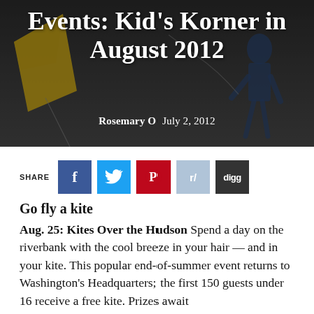[Figure (photo): Hero image with dark background showing kites (yellow, blue) with overlaid white title text. Background is a dark photographic scene.]
Events: Kid's Korner in August 2012
Rosemary O  July 2, 2012
[Figure (infographic): Social share buttons: Facebook (blue), Twitter (light blue), Pinterest (red), Reddit (light blue-grey), Digg (dark grey)]
Go fly a kite
Aug. 25: Kites Over the Hudson Spend a day on the riverbank with the cool breeze in your hair — and in your kite. This popular end-of-summer event returns to Washington's Headquarters; the first 150 guests under 16 receive a free kite. Prizes await